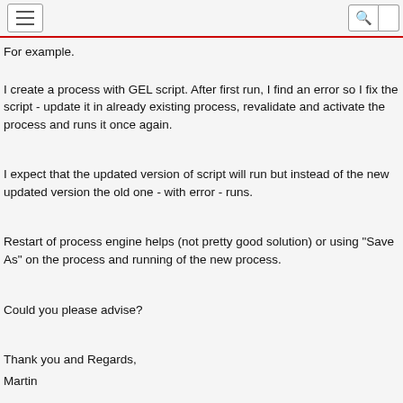For example.
I create a process with GEL script. After first run, I find an error so I fix the script - update it in already existing process, revalidate and activate the process and runs it once again.
I expect that the updated version of script will run but instead of the new updated version the old one - with error - runs.
Restart of process engine helps (not pretty good solution) or using "Save As" on the process and running of the new process.
Could you please advise?
Thank you and Regards,
Martin